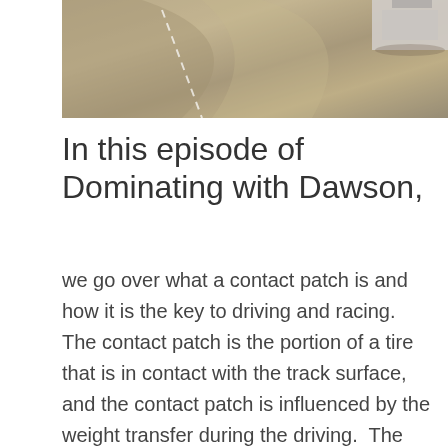[Figure (photo): Aerial or close-up view of a race track or parking surface with gravel/tarmac texture and part of a vehicle visible at the top]
In this episode of Dominating with Dawson,
we go over what a contact patch is and how it is the key to driving and racing.  The contact patch is the portion of a tire that is in contact with the track surface, and the contact patch is influenced by the weight transfer during the driving.  The control of the contact patch through the control of the weight transfer is the key to maximizing your traction and use of traction during driving and is a direct measure of the potential speed and track time that you can achieve.  And we may have ended